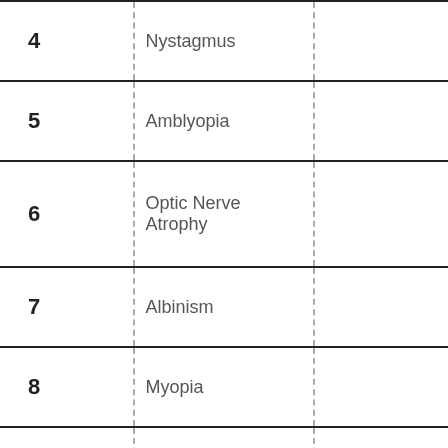| # | Condition |  |
| --- | --- | --- |
| 4 | Nystagmus |  |
| 5 | Amblyopia |  |
| 6 | Optic Nerve Atrophy |  |
| 7 | Albinism |  |
| 8 | Myopia |  |
| 9 | Cataracts (including aphakia) |  |
| 10 | Ocular Motor (including |  |